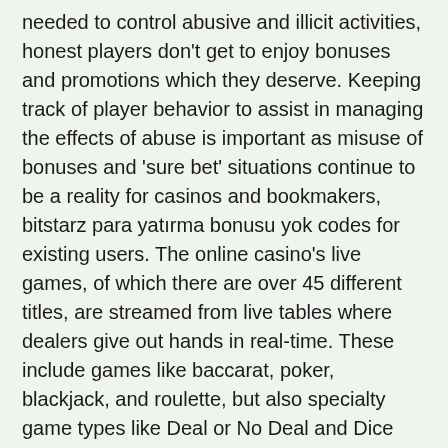needed to control abusive and illicit activities, honest players don't get to enjoy bonuses and promotions which they deserve. Keeping track of player behavior to assist in managing the effects of abuse is important as misuse of bonuses and 'sure bet' situations continue to be a reality for casinos and bookmakers, bitstarz para yatırma bonusu yok codes for existing users. The online casino's live games, of which there are over 45 different titles, are streamed from live tables where dealers give out hands in real-time. These include games like baccarat, poker, blackjack, and roulette, but also specialty game types like Deal or No Deal and Dice Duel, bitstarz para yatırma bonusu yok 20 darmowe spiny.
Bitstarz casino bonus code ohne einzahlung 2022, bitstarz promo code